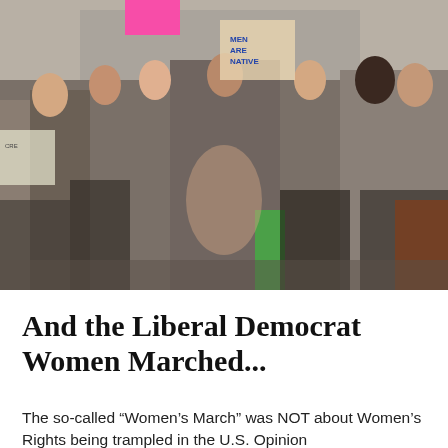[Figure (photo): A group of women marching in protest, many wearing minimal clothing including bras and underwear, some topless with pasties, carrying signs including one that reads 'MEN ARE NATIVE' and another 'My body is NOT an invitation'. Crowd of protesters on a city street.]
And the Liberal Democrat Women Marched...
The so-called “Women’s March” was NOT about Women’s Rights being trampled in the U.S. Opinion